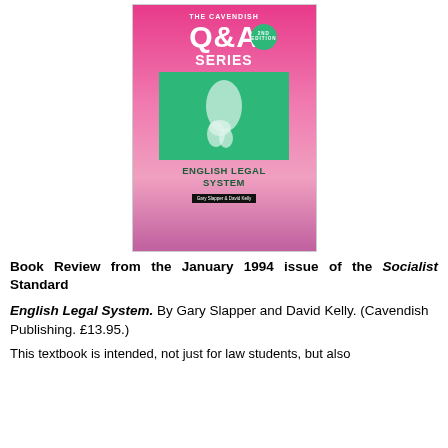[Figure (illustration): Book cover of 'The Cavendish Q&A Series, 2nd Edition – English Legal System' by Gary Slapper & David Kelly. Pink/magenta background with large white Q&A SERIES text, a green box containing a white silhouette map of Britain, and green bold text reading ENGLISH LEGAL SYSTEM at the bottom.]
Book Review from the January 1994 issue of the Socialist Standard
English Legal System. By Gary Slapper and David Kelly. (Cavendish Publishing. £13.95.)
This textbook is intended, not just for law students, but also